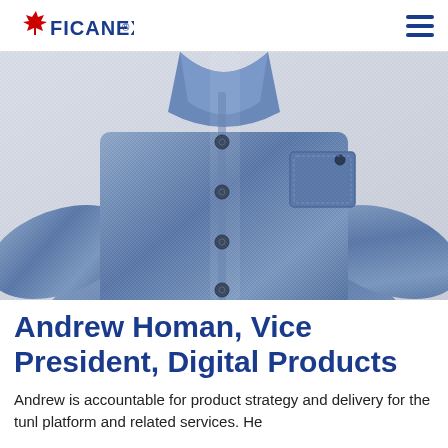FICANEX®
[Figure (photo): Close-up photo of a person wearing a blue chambray button-up shirt with a chest pocket, shown from shoulders to waist]
Andrew Homan, Vice President, Digital Products
Andrew is accountable for product strategy and delivery for the tunl platform and related services. He